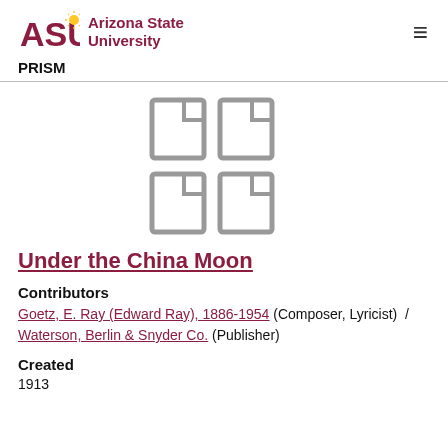Arizona State University PRISM
[Figure (illustration): Four document/file icons arranged in a 2x2 grid, rendered in gray outline style]
Under the China Moon
Contributors
Goetz, E. Ray (Edward Ray), 1886-1954 (Composer, Lyricist) / Waterson, Berlin & Snyder Co. (Publisher)
Created
1913